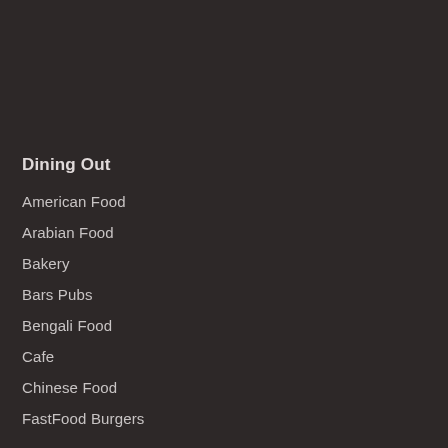Dining Out
American Food
Arabian Food
Bakery
Bars Pubs
Bengali Food
Cafe
Chinese Food
FastFood Burgers